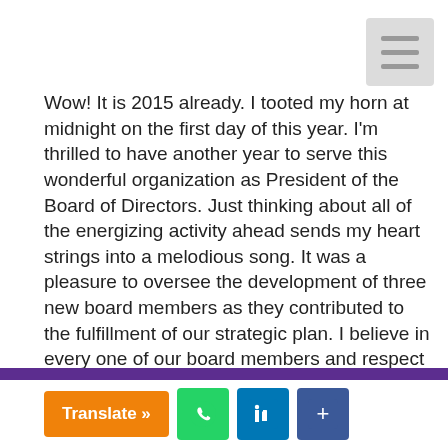[Figure (other): Hamburger menu icon (three horizontal lines) in a light gray rounded square, top right corner]
Wow! It is 2015 already. I tooted my horn at midnight on the first day of this year. I'm thrilled to have another year to serve this wonderful organization as President of the Board of Directors. Just thinking about all of the energizing activity ahead sends my heart strings into a melodious song. It was a pleasure to oversee the development of three new board members as they contributed to the fulfillment of our strategic plan. I believe in every one of our board members and respect the work they put into development of their assignments. And yes, there is much more to do to keep Bio-Touch viable in the community and
This website uses cookies to ensure you get the best experience on our website.
Learn more
Got it!
Grat... to take off on a huge... as you continue to travel this journey. I like to call it an 'experiment'! with us. I'll be right there tooting a horn with you.
Syv... McConico, IEBM Board President
Translate »